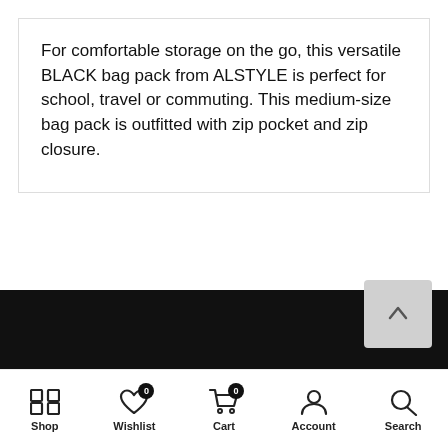For comfortable storage on the go, this versatile BLACK bag pack from ALSTYLE is perfect for school, travel or commuting. This medium-size bag pack is outfitted with zip pocket and zip closure.
Shop | Wishlist 0 | Cart 0 | Account | Search